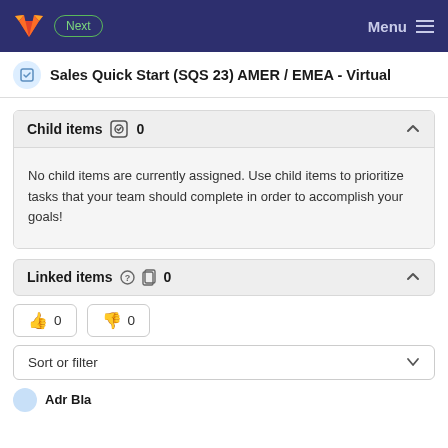Next  Menu
Sales Quick Start (SQS 23) AMER / EMEA - Virtual
Child items  0
No child items are currently assigned. Use child items to prioritize tasks that your team should complete in order to accomplish your goals!
Linked items  0
👍 0  👎 0
Sort or filter